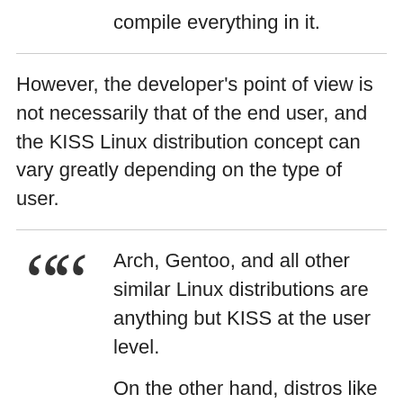compile everything in it.
However, the developer's point of view is not necessarily that of the end user, and the KISS Linux distribution concept can vary greatly depending on the type of user.
Arch, Gentoo, and all other similar Linux distributions are anything but KISS at the user level.

On the other hand, distros like Linux Mint, Kubuntu, or any other out-of-the-box distro can be considered really KISS because it's easier to turn on the system